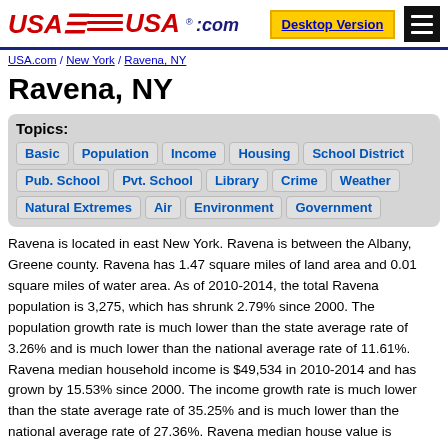USA.com — Desktop Version — Menu
USA.com / New York / Ravena, NY
Ravena, NY
Topics: Basic Population Income Housing School District Pub. School Pvt. School Library Crime Weather Natural Extremes Air Environment Government
Ravena is located in east New York. Ravena is between the Albany, Greene county. Ravena has 1.47 square miles of land area and 0.01 square miles of water area. As of 2010-2014, the total Ravena population is 3,275, which has shrunk 2.79% since 2000. The population growth rate is much lower than the state average rate of 3.26% and is much lower than the national average rate of 11.61%. Ravena median household income is $49,534 in 2010-2014 and has grown by 15.53% since 2000. The income growth rate is much lower than the state average rate of 35.25% and is much lower than the national average rate of 27.36%. Ravena median house value is $146,100 in 2010-2014 and has grown by 53.14% since 2000. The house value